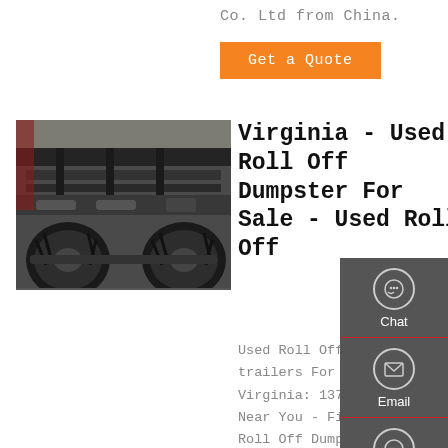Co. Ltd from China.
Get a Quote
[Figure (photo): Undercarriage view of a large truck or dumpster vehicle, showing chassis, frame and large tires from below.]
Virginia - Used Roll Off Dumpster For Sale - Used Roll Off
Used Roll Off Dumpster trailers For Sale in Virginia: 137 trailers Near You - Find Used Roll Off Dumpster trailers on Commercial Truck Trader.